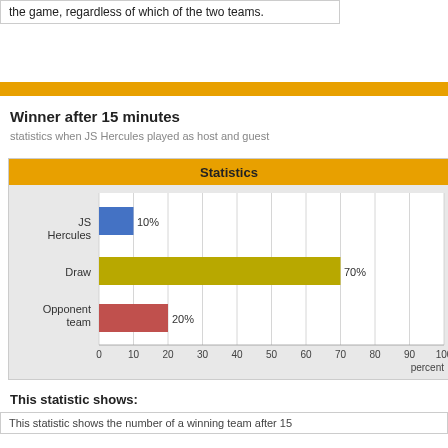the game, regardless of which of the two teams.
Winner after 15 minutes
statistics when JS Hercules played as host and guest
[Figure (bar-chart): Statistics]
This statistic shows:
This statistic shows the number of a winning team after 15